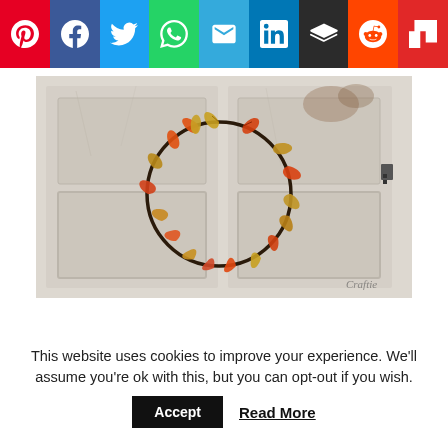[Figure (other): Social media share buttons row: Pinterest (red), Facebook (blue), Twitter (light blue), WhatsApp (green), Email (cyan), LinkedIn (blue), Buffer (dark), Reddit (orange), Flipboard (red)]
[Figure (photo): Autumn leaf wreath made of red, orange, and yellow maple leaves on a circular wire frame, hanging on a rustic white distressed wooden door. Watermark 'Craftie' visible in lower right.]
This website uses cookies to improve your experience. We'll assume you're ok with this, but you can opt-out if you wish.
Accept   Read More